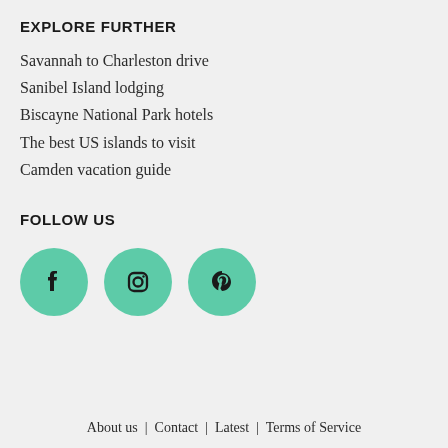EXPLORE FURTHER
Savannah to Charleston drive
Sanibel Island lodging
Biscayne National Park hotels
The best US islands to visit
Camden vacation guide
FOLLOW US
[Figure (illustration): Three teal circular social media icons: Facebook, Instagram, Pinterest]
About us  |  Contact  |  Latest  |  Terms of Service